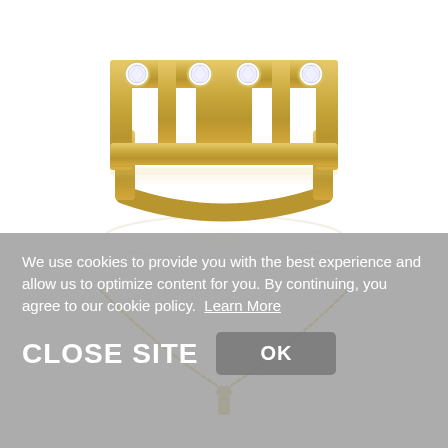[Figure (photo): Gold ring with diamond accents in a geometric open rectangular pattern, shown with a slight reflection below on white background]
[Figure (photo): Gold necklace chain with pendant visible at the bottom, shown on white background]
We use cookies to provide you with the best experience and allow us to optimize content for you. By continuing, you agree to our cookie policy.  Learn More
CLOSE SITE   OK